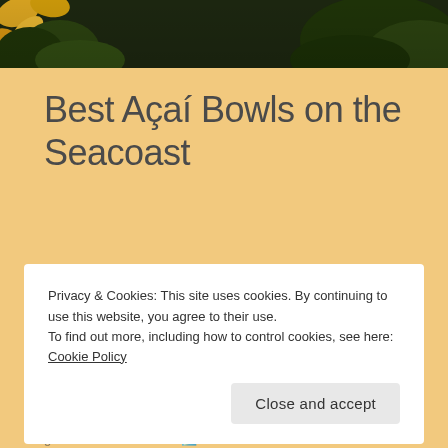[Figure (photo): Dark background with sunflowers and green foliage photo strip at top of page]
Best Açaí Bowls on the Seacoast
Kris Moore   Shopping & Reviews   June 10, 2021   1 Minute
Privacy & Cookies: This site uses cookies. By continuing to use this website, you agree to their use.
To find out more, including how to control cookies, see here: Cookie Policy
grab one on the beach 🏄